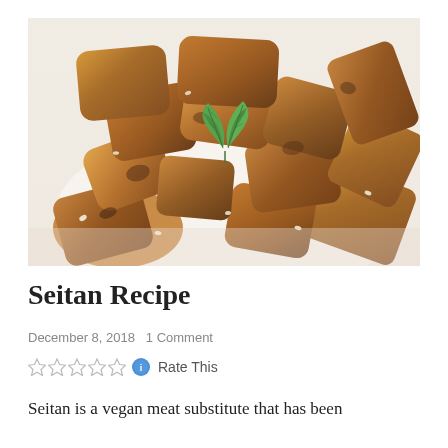[Figure (photo): Overhead close-up photo of golden-brown seitan chunks on a white plate, garnished with two fresh green basil leaves in the center and sesame seeds scattered throughout.]
Seitan Recipe
December 8, 2018   1 Comment
Rate This
Seitan is a vegan meat substitute that has been